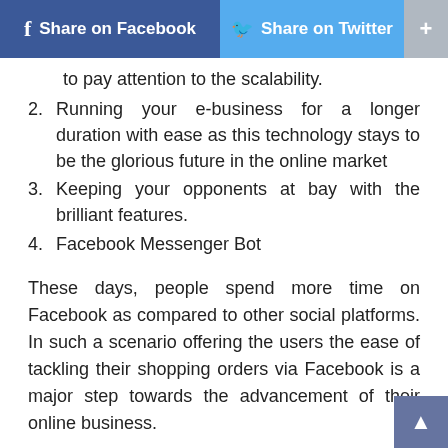Share on Facebook  Share on Twitter  +
to pay attention to the scalability.
Running your e-business for a longer duration with ease as this technology stays to be the glorious future in the online market
Keeping your opponents at bay with the brilliant features.
Facebook Messenger Bot
These days, people spend more time on Facebook as compared to other social platforms. In such a scenario offering the users the ease of tackling their shopping orders via Facebook is a major step towards the advancement of their online business.
This best e-commerce platform for small business as well as the larger ones offer a unique and ease integration with Facebook Messenger. Being available on a platform where over 1 billion users are already